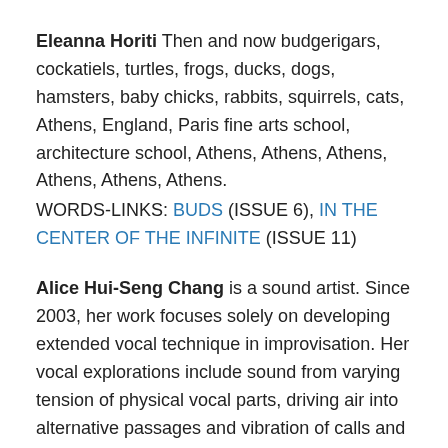Eleanna Horiti Then and now budgerigars, cockatiels, turtles, frogs, ducks, dogs, hamsters, baby chicks, rabbits, squirrels, cats, Athens, England, Paris fine arts school, architecture school, Athens, Athens, Athens, Athens, Athens, Athens.
WORDS-LINKS: BUDS (ISSUE 6), IN THE CENTER OF THE INFINITE (ISSUE 11)
Alice Hui-Seng Chang is a sound artist. Since 2003, her work focuses solely on developing extended vocal technique in improvisation. Her vocal explorations include sound from varying tension of physical vocal parts, driving air into alternative passages and vibration of calls and breath. Alice Hui-Sheng Chang has been involved in residencies in Australia, Taiwan, South Korea, France, Portugal and UK. She has performed or exhibited in